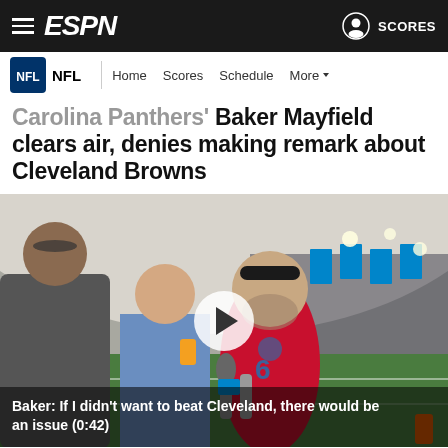ESPN — NFL | Home Scores Schedule More
Carolina Panthers' Baker Mayfield clears air, denies making remark about Cleveland Browns
[Figure (photo): Baker Mayfield speaking at a press conference at Carolina Panthers training facility, wearing a red Panthers jersey and black headband, with microphones in front of him and reporters nearby. Carolina Panthers logo banners visible in background on indoor practice field.]
Baker: If I didn't want to beat Cleveland, there would be an issue (0:42)